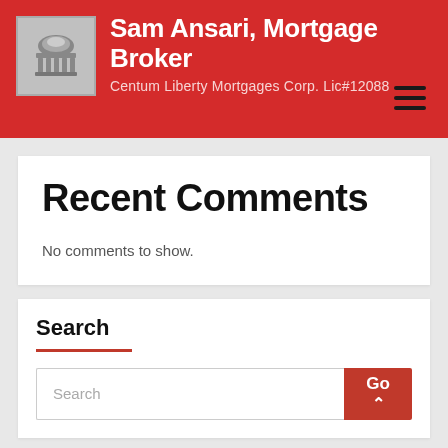Sam Ansari, Mortgage Broker — Centum Liberty Mortgages Corp. Lic#12088
Recent Comments
No comments to show.
Search
Search